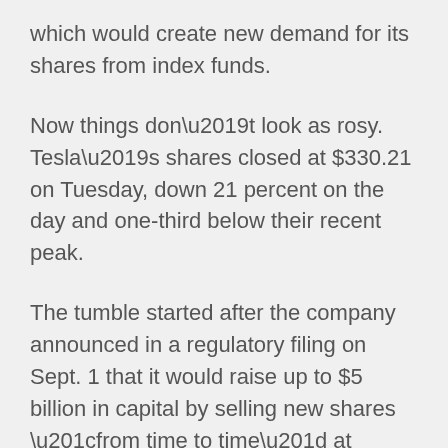which would create new demand for its shares from index funds.
Now things don't look as rosy. Tesla's shares closed at $330.21 on Tuesday, down 21 percent on the day and one-third below their recent peak.
The tumble started after the company announced in a regulatory filing on Sept. 1 that it would raise up to $5 billion in capital by selling new shares “from time to time” at market prices. That figure represented barely 1 percent of Tesla’s market capitalization, but shares fell nearly 5 percent.